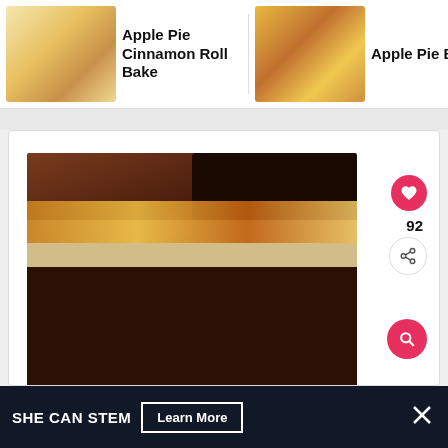[Figure (screenshot): Website screenshot showing a recipe site with a horizontal carousel at the top featuring Apple Pie recipes (Apple Pie Cinnamon Roll Bake, Apple Pie Bites, Apple Pie Ups), a main card with a chocolate caramel poke cake photo with like (92), share, and search buttons, and a bottom ad banner reading SHE CAN STEM with a Learn More button.]